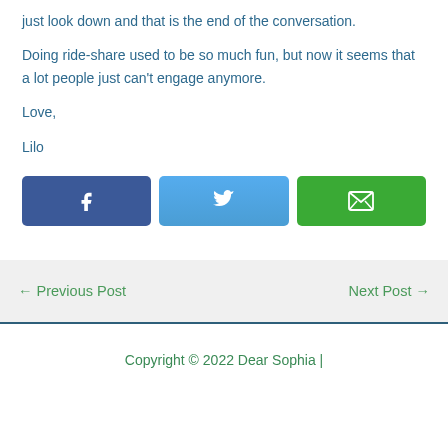just look down and that is the end of the conversation.
Doing ride-share used to be so much fun, but now it seems that a lot people just can't engage anymore.
Love,
Lilo
[Figure (infographic): Three social share buttons: Facebook (dark blue with f icon), Twitter (light blue with bird icon), Email (green with envelope icon)]
← Previous Post
Next Post →
Copyright © 2022 Dear Sophia |